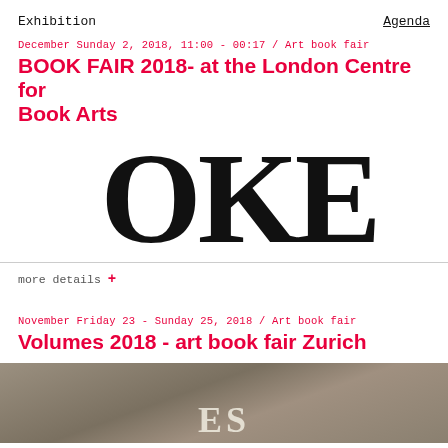Exhibition   Agenda
December Sunday 2, 2018, 11:00 - 00:17 / Art book fair
BOOK FAIR 2018- at the London Centre for Book Arts
[Figure (photo): Cropped large bold typography reading 'OKE' (partial word) in black serif font on white background]
more details +
November Friday 23 - Sunday 25, 2018 / Art book fair
Volumes 2018 - art book fair Zurich
[Figure (photo): Close-up photo of a textured stone or concrete surface with a partially visible white paper/card showing letters 'ES' at the bottom]